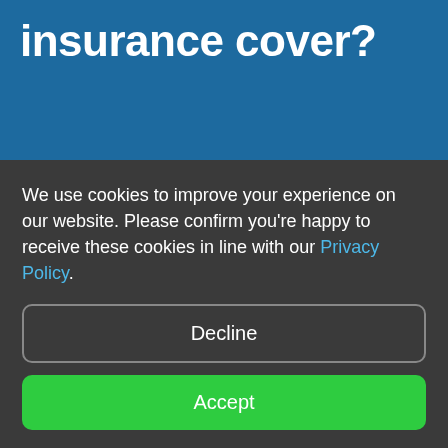insurance cover?
Medical expenses
If you or anyone covered by the policy becomes unwell or suffers an injury, medical expenses
We use cookies to improve your experience on our website. Please confirm you're happy to receive these cookies in line with our Privacy Policy.
Decline
Accept